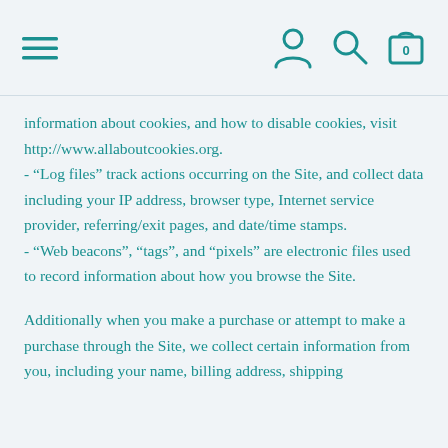Navigation bar with menu, user, search, and cart icons
information about cookies, and how to disable cookies, visit http://www.allaboutcookies.org.
- “Log files” track actions occurring on the Site, and collect data including your IP address, browser type, Internet service provider, referring/exit pages, and date/time stamps.
- “Web beacons”, “tags”, and “pixels” are electronic files used to record information about how you browse the Site.
Additionally when you make a purchase or attempt to make a purchase through the Site, we collect certain information from you, including your name, billing address, shipping